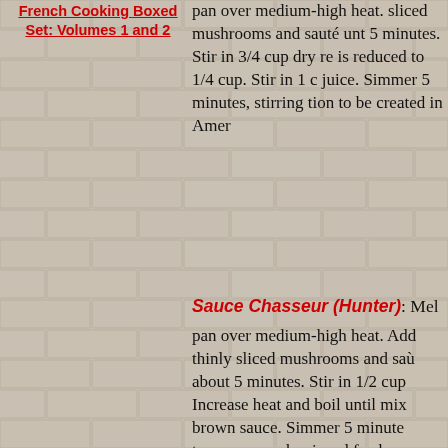French Cooking Boxed Set: Volumes 1 and 2
pan over medium-high heat. sliced mushrooms and sauté until 5 minutes. Stir in 3/4 cup dry red is reduced to 1/4 cup. Stir in 1 cup juice. Simmer 5 minutes, stirring tion to be created in Amer
Sauce Chasseur (Hunter):
Melt pan over medium-high heat. Add thinly sliced mushrooms and sauté about 5 minutes. Stir in 1/2 cup Increase heat and boil until mixture brown sauce. Simmer 5 minutes teaspoons each minced fresh parsley sautéed chicken. [Also
[Figure (photo): Image of Bordeaux with label text]
Sauce Poivrade:
Melt 1 tablespoon low heat. Add 1/4 cup thinly sliced Cover and cook until translucent Stir in 1 bay leaf, 1 thyme sprig red wine and 2 tablespoons red reduced to 1/4 cup. Strain into a Stir in 1/2 teaspoon coarsely crushed